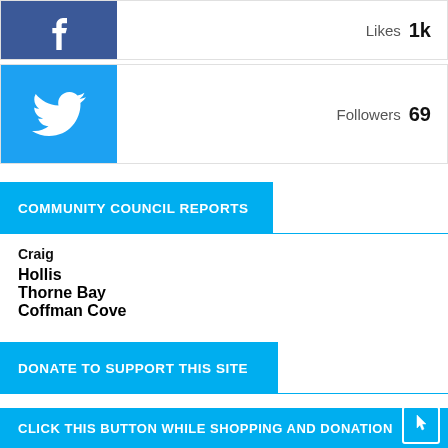[Figure (infographic): Facebook icon bar showing Likes 1k]
[Figure (infographic): Twitter icon bar showing Followers 69]
COMMUNITY COUNCIL REPORTS
Craig
Hollis
Thorne Bay
Coffman Cove
DONATE TO SUPPORT THIS SITE
Patreon
Pay Pal
CLICK THIS BUTTON WHILE SHOPPING AND DONATION